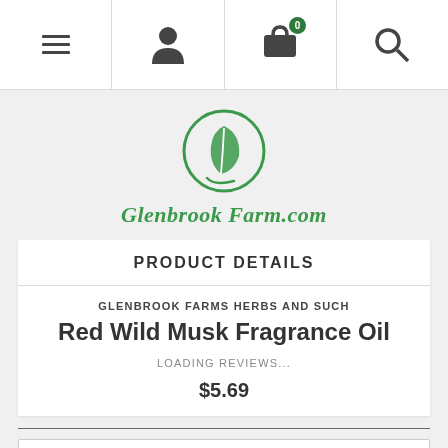Navigation bar with menu, user, cart (0 items), and search icons
[Figure (logo): Glenbrook Farm.com logo: green circle with leaf icon and italic green text 'Glenbrook Farm.com']
PRODUCT DETAILS
GLENBROOK FARMS HERBS AND SUCH
Red Wild Musk Fragrance Oil
LOADING REVIEWS...
$5.69